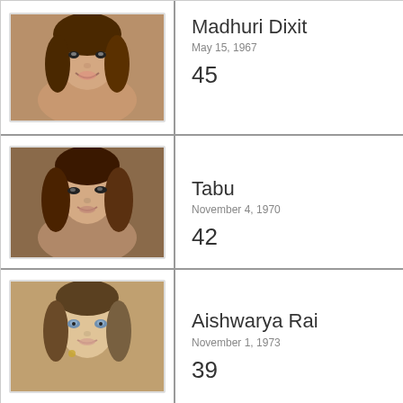[Figure (photo): Portrait photo of Madhuri Dixit, smiling woman with brown wavy hair]
Madhuri Dixit
May 15, 1967
45
[Figure (photo): Portrait photo of Tabu, woman with long brown wavy hair looking sideways]
Tabu
November 4, 1970
42
[Figure (photo): Portrait photo of Aishwarya Rai, woman with light eyes and dark hair with accessories]
Aishwarya Rai
November 1, 1973
39